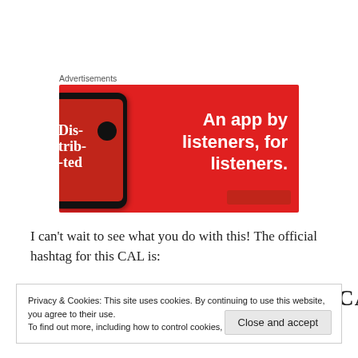Advertisements
[Figure (illustration): Red advertisement banner for a podcast/music app. Shows a smartphone with 'Dis-trib-uted' text on screen. Large white bold text reads: 'An app by listeners, for listeners.']
I can't wait to see what you do with this! The official hashtag for this CAL is:
#CLICCAURCHOICEHUMBCAL (partially visible, cut off by cookie banner)
Privacy & Cookies: This site uses cookies. By continuing to use this website, you agree to their use.
To find out more, including how to control cookies, see here: Cookie Policy
Close and accept